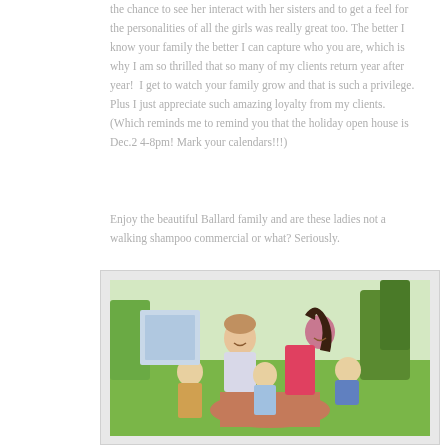the chance to see her interact with her sisters and to get a feel for the personalities of all the girls was really great too. The better I know your family the better I can capture who you are, which is why I am so thrilled that so many of my clients return year after year!  I get to watch your family grow and that is such a privilege. Plus I just appreciate such amazing loyalty from my clients. (Which reminds me to remind you that the holiday open house is Dec.2 4-8pm! Mark your calendars!!!)
Enjoy the beautiful Ballard family and are these ladies not a walking shampoo commercial or what? Seriously.
[Figure (photo): Outdoor family photo of a man and woman with three young girls, including a baby, smiling and interacting on a path in a park with green grass and trees in the background.]